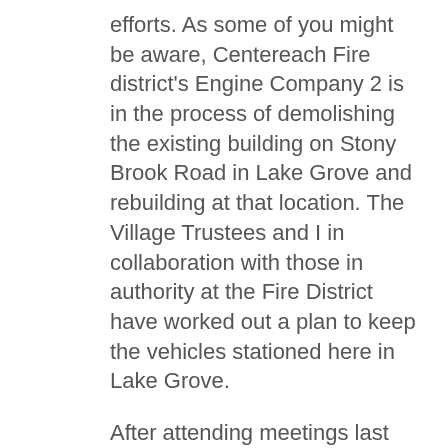efforts. As some of you might be aware, Centereach Fire district's Engine Company 2 is in the process of demolishing the existing building on Stony Brook Road in Lake Grove and rebuilding at that location. The Village Trustees and I in collaboration with those in authority at the Fire District have worked out a plan to keep the vehicles stationed here in Lake Grove.
After attending meetings last year with the Fire District and hearing the exorbitant costs of renting a location and providing a structure for the vehicles, I along with the Village Board offered a location in our DPW yard at Village Hall. Engine 2 and Ambulance 16 are now located at Village Hall. We are also providing shelter for our brave volunteers in the old Village Hall building. This building is also used as a relief station for our Suffolk County Sheriff's department.